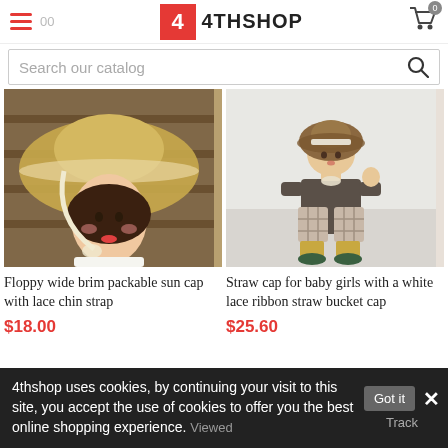4THSHOP
Search our catalog
[Figure (photo): Woman wearing a floppy wide brim packable sun cap with lace chin strap, straw hat with ribbon tie]
Floppy wide brim packable sun cap with lace chin strap
$18.00
[Figure (photo): Baby girl wearing a straw bucket cap with white lace ribbon, brown top and plaid shorts]
Straw cap for baby girls with a white lace ribbon straw bucket cap
$25.60
4thshop uses cookies, by continuing your visit to this site, you accept the use of cookies to offer you the best online shopping experience. Viewed Track